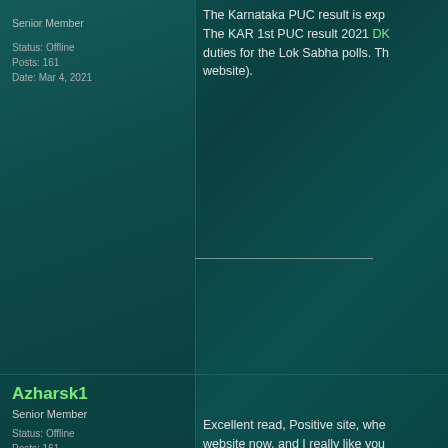Senior Member
Status: Offline
Posts: 161
Date: Mar 4, 2021
The Karnataka PUC result is exp The KAR 1st PUC result 2021 DK duties for the Lok Sabha polls. Th website).
Azharsk1
Senior Member
Status: Offline
Posts: 161
Date: Mar 8, 2021
Excellent read, Positive site, whe website now, and I really like you
dare22
Veteran Member
Status: Offline
Posts: 25
Date: Mar 12, 2021
Thank you for your information th
Agile kanban methodology